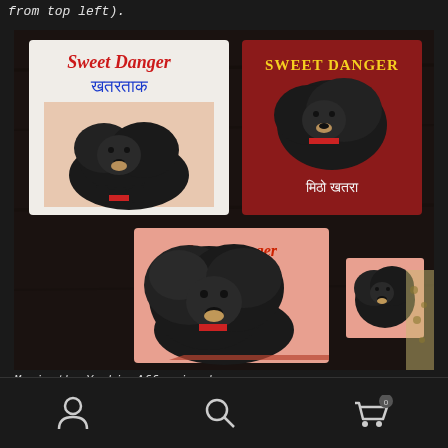from top left).
[Figure (photo): Four hand-painted signs/plaques featuring a black Yorkie Affenpinscher named Moxie. Top-left plaque: white background with 'Sweet Danger' in red, Devanagari text in blue 'खतरताक', and a painting of the black dog. Top-right plaque: red/maroon background with 'Sweet Danger' in yellow, painting of dog, and Devanagari text 'मिठो खतरा'. Bottom-center plaque: pink/salmon background with 'Sweet Danger' in red graffiti-style letters and large painting of the black dog. Small plaque at bottom-right: small pink/salmon tile with dog painting. All placed on dark wood surface.]
Moxie the Yorkie Affenpinscher